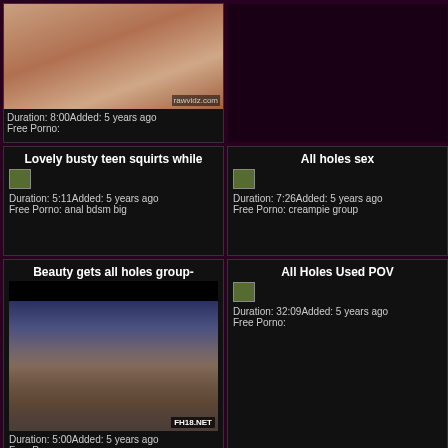[Figure (screenshot): Top left video thumbnail with skin-colored close-up, watermark rawvidz.com]
Duration: 8:00Added: 5 years ago
Free Porno:
Lovely busty teen squirts while
[Figure (screenshot): Small broken image placeholder]
Duration: 5:11Added: 5 years ago
Free Porno: anal bdsm big
All holes sex
[Figure (screenshot): Small broken image placeholder]
Duration: 7:26Added: 5 years ago
Free Porno: creampie group
Beauty gets all holes group-
[Figure (photo): Video thumbnail showing group scene, watermark FH18.NET]
Duration: 5:00Added: 5 years ago
Free Porno:
All Holes Used POV
[Figure (screenshot): Small broken image placeholder]
Duration: 32:09Added: 5 years ago
Free Porno: